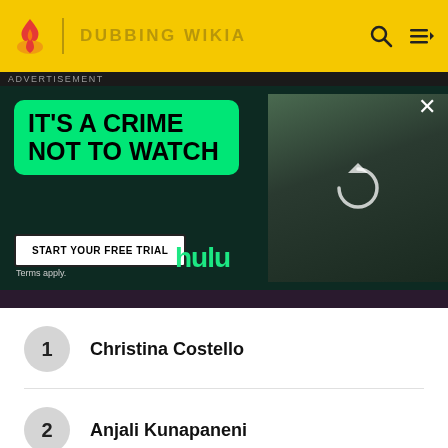DUBBING WIKIA
[Figure (screenshot): Hulu advertisement: 'IT'S A CRIME NOT TO WATCH' with a green text box, START YOUR FREE TRIAL button, Hulu logo in green, and a photo of a person in a library setting with a reload icon overlay. Terms apply.]
1 Christina Costello
2 Anjali Kunapaneni
3 Fullmetal Alchemist: Revenge of Scar